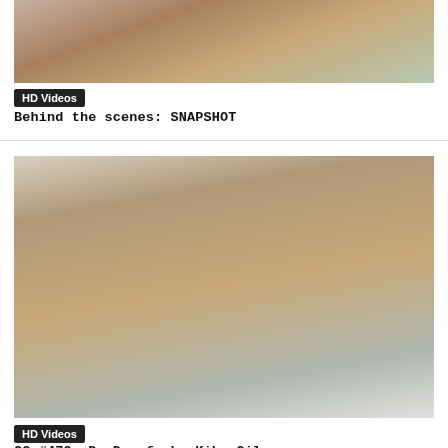[Figure (photo): Thumbnail image at top of page showing adult content]
HD Videos
Behind the scenes: SNAPSHOT
[Figure (photo): Large thumbnail image showing adult content with two male figures]
HD Videos
CC #472: D. Dan fucks Kike Gil